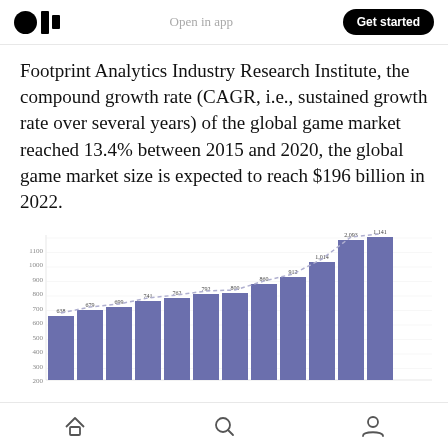Open in app | Get started
Footprint Analytics Industry Research Institute, the compound growth rate (CAGR, i.e., sustained growth rate over several years) of the global game market reached 13.4% between 2015 and 2020, the global game market size is expected to reach $196 billion in 2022.
[Figure (bar-chart): Global game market size]
Home | Search | Profile